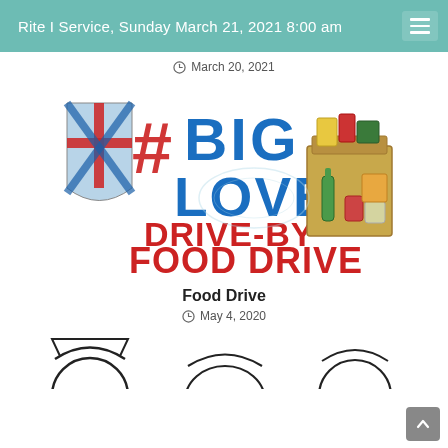Rite I Service, Sunday March 21, 2021 8:00 am
March 20, 2021
[Figure (logo): #BigLove Drive-By Food Drive logo with cross shield emblem and grocery items]
Food Drive
May 4, 2020
[Figure (illustration): Partial illustration visible at bottom of page, appears to show cartoon figures]